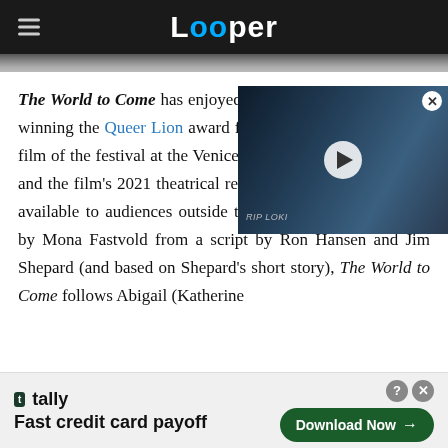Looper
The World to Come has enjoyed considerable acclaim since winning the Queer Lion award for the best LGBTQ-themed film of the festival at the Venice International Film Festival, and the film's 2021 theatrical release finally makes the film available to audiences outside the festival circuit. Directed by Mona Fastvold from a script by Ron Hansen and Jim Shepard (and based on Shepard's short story), The World to Come follows Abigail (Katherine
[Figure (screenshot): Video player overlay showing a dark fantasy/action scene with a shirtless figure with text 'RIP LOKI' visible, with a play button overlay]
[Figure (infographic): Advertisement banner for Tally app: 'Fast credit card payoff' with a Download Now button]